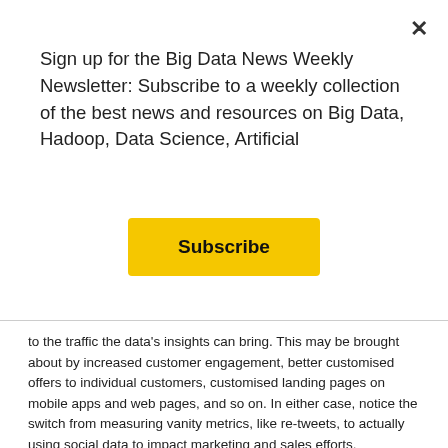Sign up for the Big Data News Weekly Newsletter: Subscribe to a weekly collection of the best news and resources on Big Data, Hadoop, Data Science, Artificial
Subscribe
to the traffic the data's insights can bring. This may be brought about by increased customer engagement, better customised offers to individual customers, customised landing pages on mobile apps and web pages, and so on. In either case, notice the switch from measuring vanity metrics, like re-tweets, to actually using social data to impact marketing and sales efforts.
Decision science
Decision science is another way to conduct experiments through field research, but by collecting new data rather than relying on past data, and then using this to pose relevant questions to a community.
For example, marketers may want to find out how consumers feel about different price points before launching a new product. Marketers may go in after a product launch as well to see how public sentiment has changed and adjust the price accordingly.